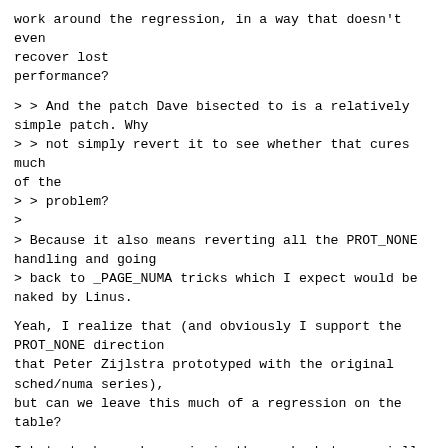work around the regression, in a way that doesn't even recover lost
performance?
> > And the patch Dave bisected to is a relatively simple patch. Why
> > not simply revert it to see whether that cures much of the
> > problem?
>
> Because it also means reverting all the PROT_NONE handling and going
> back to _PAGE_NUMA tricks which I expect would be naked by Linus.
Yeah, I realize that (and obviously I support the PROT_NONE direction
that Peter Zijlstra prototyped with the original sched/numa series),
but can we leave this much of a regression on the table?
I hate to be such a pain in the neck, but especially the 'down tuning'
of the scanning intensity will make an apples to apples comparison
harder!
I'd rather not do the slow-tuning part and leave sucky performance in